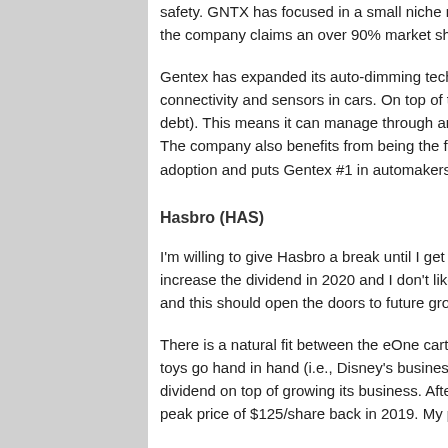safety. GNTX has focused in a small niche market where it dominates, the company claims an over 90% market share in the auto-dimming
Gentex has expanded its auto-dimming technology to aerospace and connectivity and sensors in cars. On top of that, it shows a stellar bal debt). This means it can manage through any storms and might beco The company also benefits from being the first to offer this high-quali adoption and puts Gentex #1 in automakers minds for future orders.
Hasbro (HAS)
I'm willing to give Hasbro a break until I get the company's results fro increase the dividend in 2020 and I don't like that. I understand they and this should open the doors to future growth.
There is a natural fit between the eOne cartoons portfolio and Hasbro toys go hand in hand (i.e., Disney's business model). The company b dividend on top of growing its business. After a good recovery in the peak price of $125/share back in 2019. My patience has limits, but w
Lazard (LAZ)
If you have been following me for a while, you know that I really like b acquisitions (M&A). With 50% of its business coming from financial a